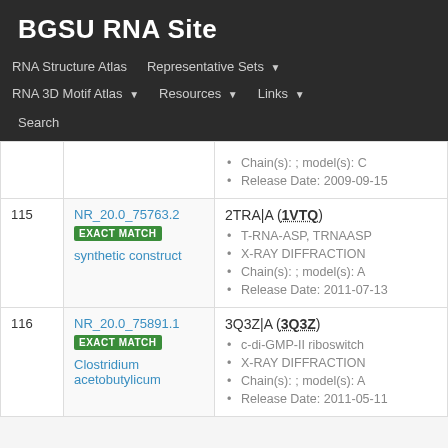BGSU RNA Site
RNA Structure Atlas | Representative Sets | RNA 3D Motif Atlas | Resources | Links | Search
| # | ID / Match / Organism | Entry Details |
| --- | --- | --- |
|  |  | Chain(s): ; model(s): C
Release Date: 2009-09-15 |
| 115 | NR_20.0_75763.2
EXACT MATCH
synthetic construct | 2TRA|A (1VTQ)
T-RNA-ASP, TRNAASP
X-RAY DIFFRACTION
Chain(s): ; model(s): A
Release Date: 2011-07-13 |
| 116 | NR_20.0_75891.1
EXACT MATCH
Clostridium acetobutylicum | 3Q3Z|A (3Q3Z)
c-di-GMP-II riboswitch
X-RAY DIFFRACTION
Chain(s): ; model(s): A
Release Date: 2011-05-11 |